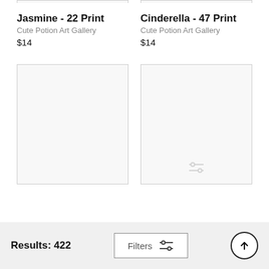Jasmine - 22 Print
Cute Potion Art Gallery
$14
Cinderella - 47 Print
Cute Potion Art Gallery
$14
[Figure (photo): Empty product image placeholder box (left)]
[Figure (photo): Empty product image placeholder box (right)]
Results: 422
Filters